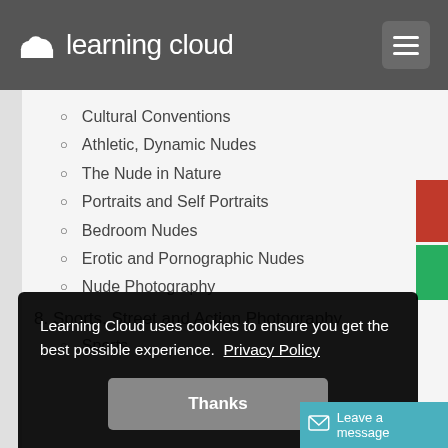[Figure (logo): Learning Cloud logo with cloud icon on dark grey header bar with hamburger menu button]
Cultural Conventions
Athletic, Dynamic Nudes
The Nude in Nature
Portraits and Self Portraits
Bedroom Nudes
Erotic and Pornographic Nudes
Nude Photography
8. Sports, Street and Action Photography
Sports
Learning Cloud uses cookies to ensure you get the best possible experience. Privacy Policy
Thanks
Leave a message